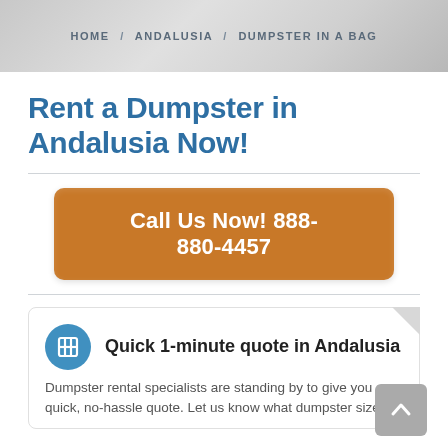HOME / ANDALUSIA / DUMPSTER IN A BAG
Rent a Dumpster in Andalusia Now!
Call Us Now! 888-880-4457
Quick 1-minute quote in Andalusia
Dumpster rental specialists are standing by to give you a quick, no-hassle quote. Let us know what dumpster size